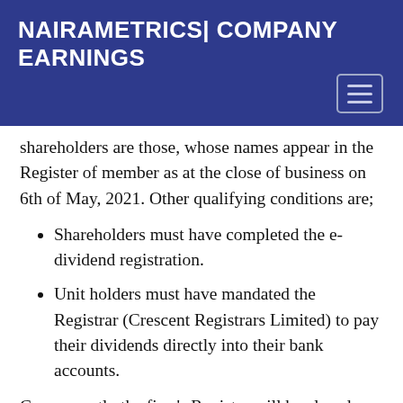NAIRAMETRICS| COMPANY EARNINGS
shareholders are those, whose names appear in the Register of member as at the close of business on 6th of May, 2021. Other qualifying conditions are;
Shareholders must have completed the e-dividend registration.
Unit holders must have mandated the Registrar (Crescent Registrars Limited) to pay their dividends directly into their bank accounts.
Consequently the firm's Register will be closed from 6th to 21st of May, 2021. The firm will hold its Annual General Meeting on 20th of May, 2021 to consider and approve the proposed dividend.